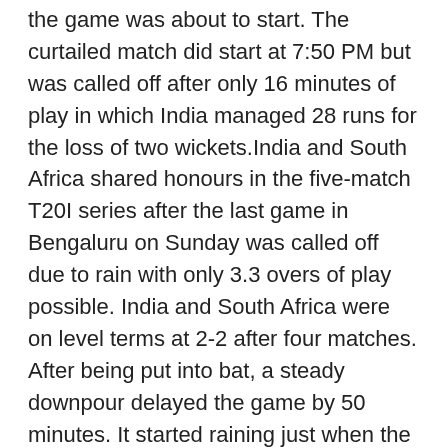the game was about to start. The curtailed match did start at 7:50 PM but was called off after only 16 minutes of play in which India managed 28 runs for the loss of two wickets.India and South Africa shared honours in the five-match T20I series after the last game in Bengaluru on Sunday was called off due to rain with only 3.3 overs of play possible. India and South Africa were on level terms at 2-2 after four matches. After being put into bat, a steady downpour delayed the game by 50 minutes. It started raining just when the game was about to start. The curtailed match did start at 7:50 PM but was called off after only 16 minutes of play in which India managed 28 runs for the loss of two wickets.India and South Africa shared honours in the five-match T20I series after the last game in Bengaluru on Sunday was called off due to rain with only 3.3 overs of play possible. India and South Africa were on level terms at 2-2 after four matches. After being put into bat, a